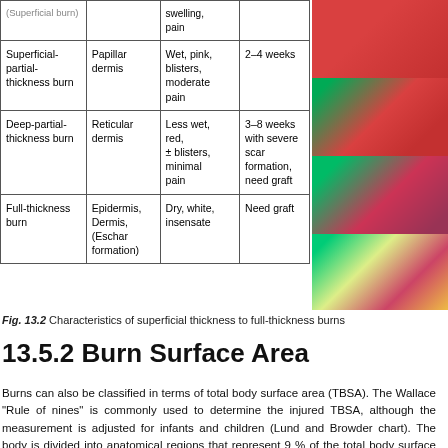| Burn Type | Depth | Signs/Symptoms | Healing |
| --- | --- | --- | --- |
| Superficial-partial-thickness burn | Papillar dermis | Wet, pink, blisters, moderate pain | 2–4 weeks |
| Deep-partial-thickness burn | Reticular dermis | Less wet, red, ± blisters, minimal pain | 3–8 weeks with severe scar formation, need graft |
| Full-thickness burn | Epidermis, Dermis, (Eschar formation) | Dry, white, insensate | Need graft |
[Figure (photo): Clinical photographs of burn types from superficial-partial to full-thickness burns]
Fig. 13.2  Characteristics of superficial thickness to full-thickness burns
13.5.2  Burn Surface Area
Burns can also be classified in terms of total body surface area (TBSA). The Wallace "Rule of nines" is commonly used to determine the injured TBSA, although the measurement is adjusted for infants and children (Lund and Browder chart). The body is divided into anatomical regions that represent 9 % of the total body surface (Fig. 13.3). The outstretched palm and fingers equal 1 % of the TBSA ("Rule of palms"). Superficial burns should